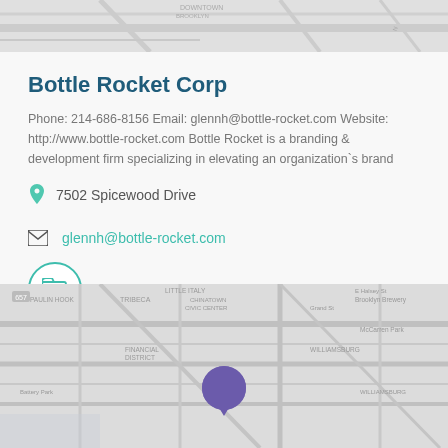[Figure (map): Grayscale street map fragment shown at top of page]
Bottle Rocket Corp
Phone: 214-686-8156 Email: glennh@bottle-rocket.com Website: http://www.bottle-rocket.com Bottle Rocket is a branding & development firm specializing in elevating an organization`s brand
7502 Spicewood Drive
glennh@bottle-rocket.com
[Figure (illustration): Teal circular icon with folder/file symbol]
[Figure (map): Grayscale street map of New York area with purple location pin marker in center, showing neighborhoods including Manhattan, Tribeca, Financial District, Williamsburg, Brooklyn Brewery, McCarren Park]